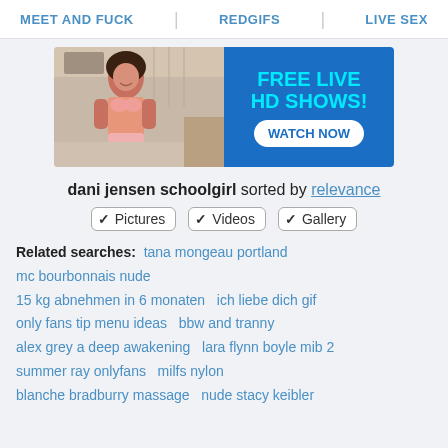MEET AND FUCK   REDGIFS   LIVE SEX
[Figure (photo): Advertisement banner: left half shows a woman in lingerie in a room, right half is blue background with cyan text 'FREE LIVE HD SHOWS!' and white button 'WATCH NOW']
dani jensen schoolgirl sorted by relevance
✓ Pictures  ✓ Videos  ✓ Gallery
Related searches:  tana mongeau portland  mc bourbonnais nude  15 kg abnehmen in 6 monaten   ich liebe dich gif  only fans tip menu ideas   bbw and tranny  alex grey a deep awakening   lara flynn boyle mib 2  summer ray onlyfans   milfs nylon  blanche bradburry massage   nude stacy keibler